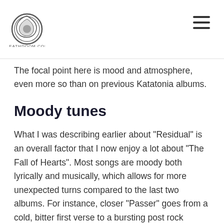deathdoom.com
The focal point here is mood and atmosphere, even more so than on previous Katatonia albums.
Moody tunes
What I was describing earlier about "Residual" is an overall factor that I now enjoy a lot about "The Fall of Hearts". Most songs are moody both lyrically and musically, which allows for more unexpected turns compared to the last two albums. For instance, closer "Passer" goes from a cold, bitter first verse to a bursting post rock ending, and manages to squeeze in a lot of instrumental dynamics on the way as well. "Sanction" combines warm summer longing in the verses with a heavy Tool-inspired chorus where Jonas really gets to exercise his vocal chords properly.